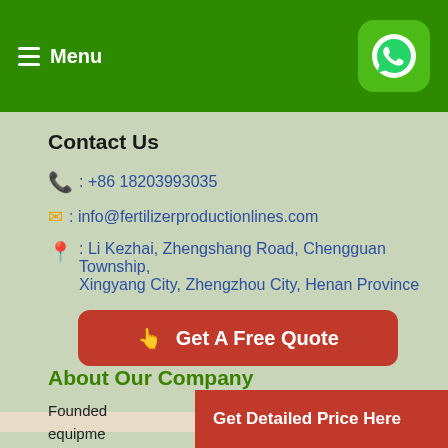Menu
Contact Us
: +86 18203993035
: info@fertilizerproductionlines.com
: Li Kezhai, Zhengshang Road, Chengguan Township, Xingyang City, Zhengzhou City, Henan Province
Get A Free Quote
About Our Company
Founded
equipme
Get Detailed Price Here